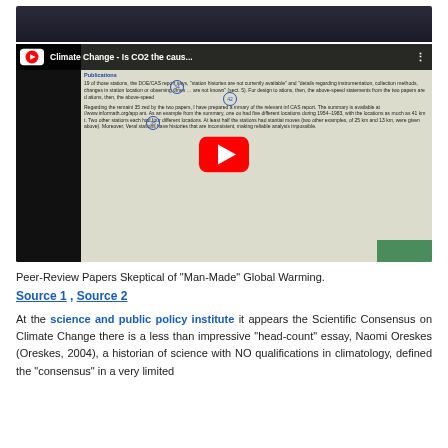[Figure (screenshot): Dark screenshot of a presentation screen at the top of the page]
[Figure (screenshot): YouTube video thumbnail showing a presentation slide about Climate Change - Is CO2 the caus... with a play button overlay. The slide shows text about meteorological stations in China and DOE/CAS report details.]
Peer-Review Papers Skeptical of "Man-Made" Global Warming.
Source 1 ,  Source 2
At the science and public policy institute it appears the Scientific Consensus on Climate Change there is a less than impressive "head-count" essay, Naomi Oreskes (Oreskes, 2004), a historian of science with NO qualifications in climatology, defined the "consensus" in a very limited